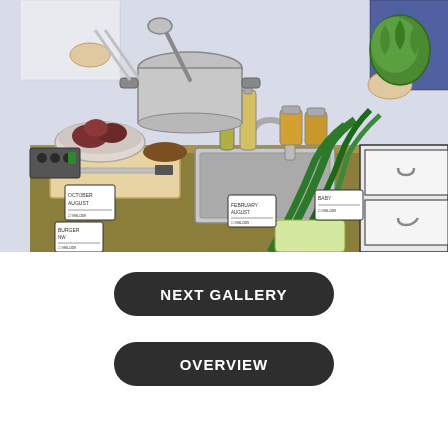[Figure (illustration): A colorful cartoon illustration of a busy kitchen counter scene with chefs cooking. The counter has various ingredients including green leeks/scallions, jars of sauce or condiments, a cutting board with a knife, a bowl of meat, bottles of oil, a sink, and price tags or labels on items. Hands of people in chef whites and business attire reach in from different sides. A large pot is on the stovetop in the background and more produce is being held.]
NEXT GALLERY
OVERVIEW